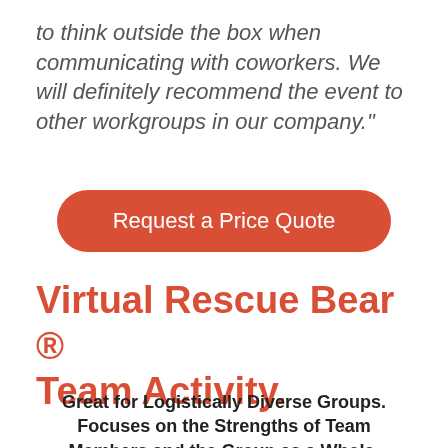to think outside the box when communicating with coworkers. We will definitely recommend the event to other workgroups in our company."
[Figure (other): Red rounded rectangle button with white text reading 'Request a Price Quote']
Virtual Rescue Bear ® Team Activity.
Great for Logistically Diverse Groups. Focuses on the Strengths of Team Members and the Group as a Whole.